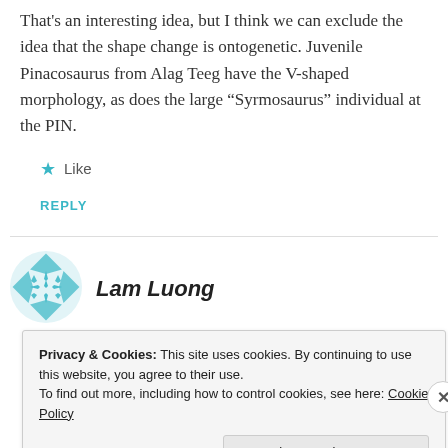That's an interesting idea, but I think we can exclude the idea that the shape change is ontogenetic. Juvenile Pinacosaurus from Alag Teeg have the V-shaped morphology, as does the large “Syrmosaurus” individual at the PIN.
Like
REPLY
Lam Luong
Privacy & Cookies: This site uses cookies. By continuing to use this website, you agree to their use.
To find out more, including how to control cookies, see here: Cookie Policy
Close and accept